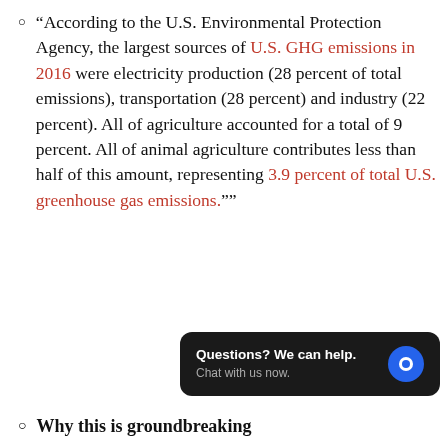“According to the U.S. Environmental Protection Agency, the largest sources of U.S. GHG emissions in 2016 were electricity production (28 percent of total emissions), transportation (28 percent) and industry (22 percent). All of agriculture accounted for a total of 9 percent. All of animal agriculture contributes less than half of this amount, representing 3.9 percent of total U.S. greenhouse gas emissions.””
Why this is groundbreaking